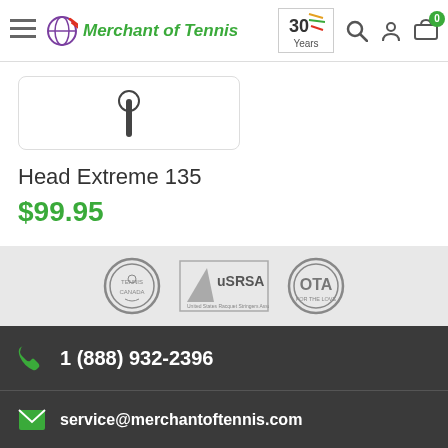Merchant of Tennis — 30 Years
[Figure (screenshot): Product image thumbnail of Head Extreme 135 racquet on white background]
Head Extreme 135
$99.95
[Figure (logo): Three association logos: Tennis Canada, USRSA (United States Racquet Stringers Association), OTA (Ontario Tennis Association)]
1 (888) 932-2396
service@merchantoftennis.com
Toronto
1621 Bayview Ave
Toronto, ON M4G 3B5
Canada